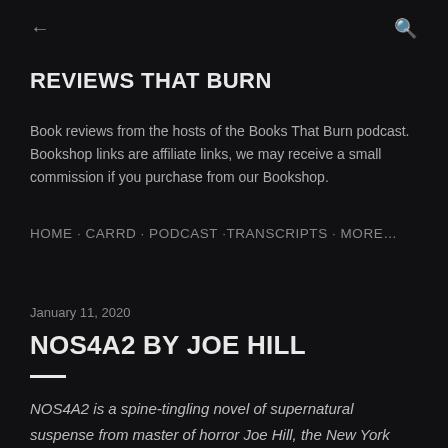← (back) Q (search)
REVIEWS THAT BURN
Book reviews from the hosts of the Books That Burn podcast. Bookshop links are affiliate links, we may receive a small commission if you purchase from our Bookshop.
HOME · CARRD · PODCAST ·TRANSCRIPTS · MORE…
January 11, 2020
NOS4A2 BY JOE HILL
NOS4A2 is a spine-tingling novel of supernatural suspense from master of horror Joe Hill, the New York Times bestselling author of Heart-Shaped Box and Horns.